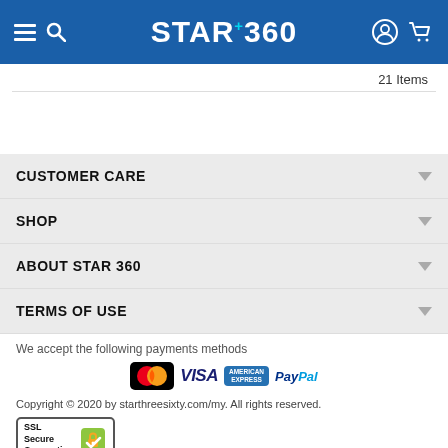STAR+360
21 Items
CUSTOMER CARE
SHOP
ABOUT STAR 360
TERMS OF USE
We accept the following payments methods
[Figure (logo): Payment method logos: Mastercard, VISA, American Express, PayPal]
Copyright © 2020 by starthreesixty.com/my. All rights reserved.
[Figure (logo): SSL Secure Connection badge with padlock icon]